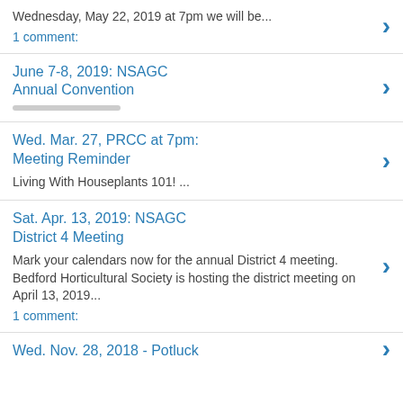Wednesday, May 22, 2019 at 7pm we will be...
1 comment:
June 7-8, 2019: NSAGC Annual Convention
Wed. Mar. 27, PRCC at 7pm: Meeting Reminder
Living With Houseplants 101! ...
Sat. Apr. 13, 2019: NSAGC District 4 Meeting
Mark your calendars now for the annual District 4 meeting. Bedford Horticultural Society is hosting the district meeting on April 13, 2019...
1 comment:
Wed. Nov. 28, 2018 - Potluck